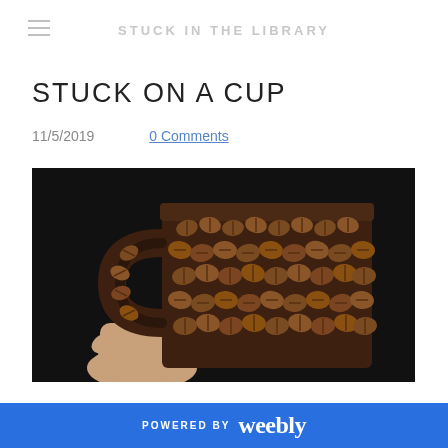STUCK IN THE LIBRARY
STUCK ON A CUP
11/5/2019     0 Comments
[Figure (photo): A hand holding a coffee mug entirely covered in coffee beans, photographed against a black background. The mug handle and body are densely decorated with whole coffee beans.]
POWERED BY weebly